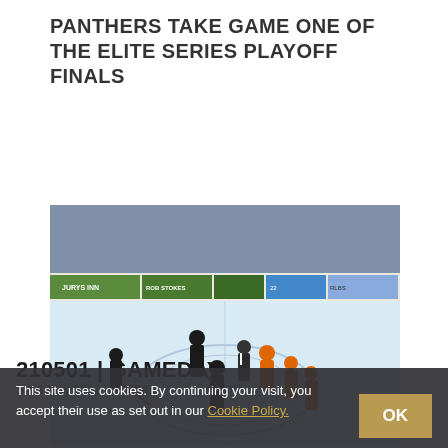PANTHERS TAKE GAME ONE OF THE ELITE SERIES PLAYOFF FINALS
READ MORE
[Figure (photo): Ice hockey game in progress showing players in dark and orange uniforms facing off on the ice; arena crowd visible in background with rink-side advertising boards including Jurys and Rob Stokes brands; Elite Series logo visible on ice.]
210501 | GAMEDAY
Sat 1 May 2021 - 06:00AM
This site uses cookies. By continuing your visit, you accept their use as set out in our Cookie Policy.